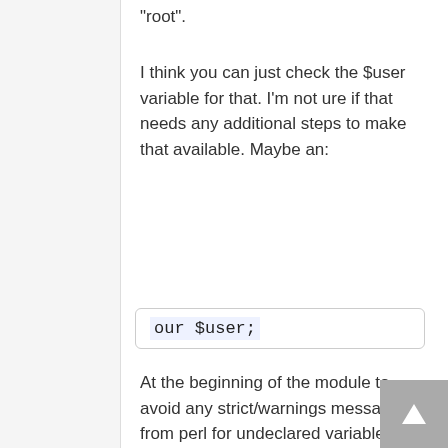"root".
I think you can just check the $user variable for that. I'm not ure if that needs any additional steps to make that available. Maybe an:
our $user;
At the beginning of the module to avoid any strict/warnings messages from perl for undeclared variables.